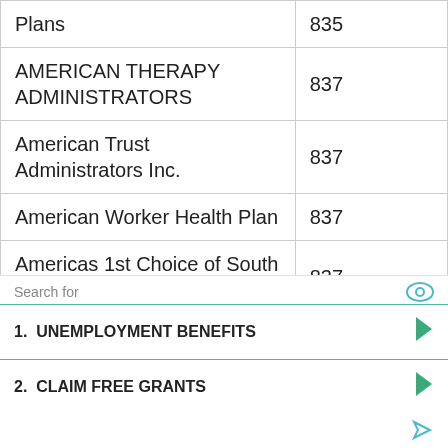| Name | Page |
| --- | --- |
| Plans | 835 |
| AMERICAN THERAPY ADMINISTRATORS | 837 |
| American Trust Administrators Inc. | 837 |
| American Worker Health Plan | 837 |
| Americas 1st Choice of South Carolina, Inc | 837 |
| America's Choice Health | --- |